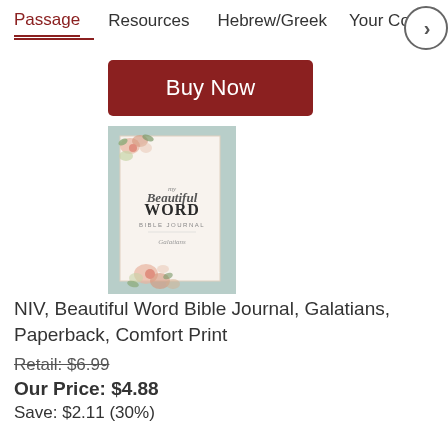Passage   Resources   Hebrew/Greek   Your Cont
Buy Now
[Figure (illustration): Book cover of NIV Beautiful Word Bible Journal, Galatians with floral design]
NIV, Beautiful Word Bible Journal, Galatians, Paperback, Comfort Print
Retail: $6.99
Our Price: $4.88
Save: $2.11 (30%)